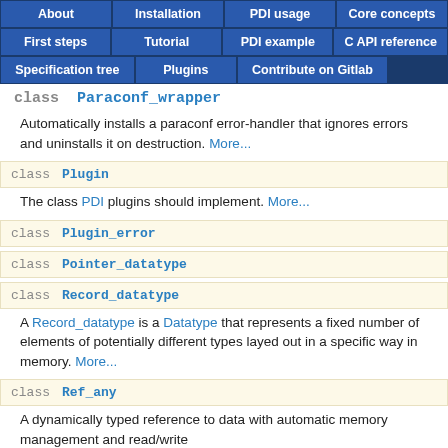About | Installation | PDI usage | Core concepts | First steps | Tutorial | PDI example | C API reference | Specification tree | Plugins | Contribute on Gitlab
class Paraconf_wrapper
Automatically installs a paraconf error-handler that ignores errors and uninstalls it on destruction. More...
class Plugin
The class PDI plugins should implement. More...
class Plugin_error
class Pointer_datatype
class Record_datatype
A Record_datatype is a Datatype that represents a fixed number of elements of potentially different types layed out in a specific way in memory. More...
class Ref_any
A dynamically typed reference to data with automatic memory management and read/write